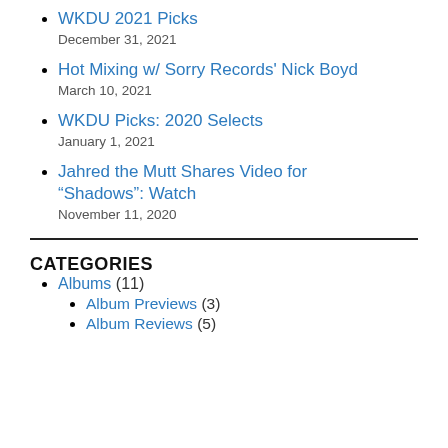WKDU 2021 Picks
December 31, 2021
Hot Mixing w/ Sorry Records' Nick Boyd
March 10, 2021
WKDU Picks: 2020 Selects
January 1, 2021
Jahred the Mutt Shares Video for “Shadows”: Watch
November 11, 2020
CATEGORIES
Albums (11)
Album Previews (3)
Album Reviews (5)